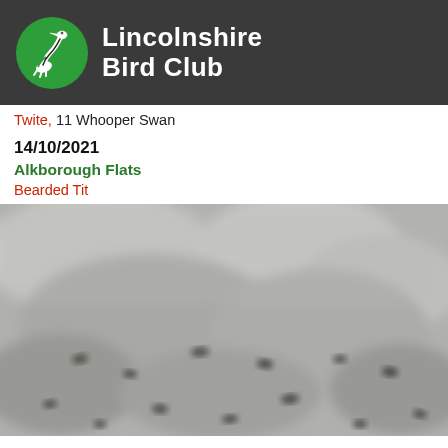[Figure (logo): Lincolnshire Bird Club logo — green circle with a white stylized bird (avocet/swan neck silhouette) and white text reading 'Lincolnshire Bird Club' on dark grey background header bar]
Twite, 11 Whooper Swan
14/10/2021
Alkborough Flats
Bearded Tit
[Figure (photo): Blurry photograph of birds on ground, appears to show small dark birds on grey/brown textured surface, very shallow depth of field]